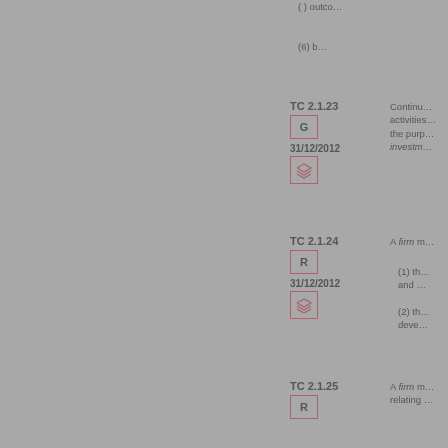(…) outco…
(6) b…
TC 2.1.23
G
31/12/2012
[layers icon]
Continu… activities… the purp… investm…
TC 2.1.24
R
31/12/2012
[layers icon]
A firm m…
(1) th… and …
(2) th… deve…
TC 2.1.25
R
A firm m… relating …